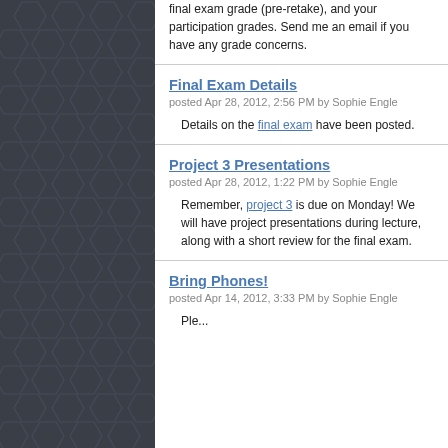final exam grade (pre-retake), and your participation grades. Send me an email if you have any grade concerns.
Final Exam Details
posted Apr 28, 2012, 2:56 PM by Sophie Engle
Details on the final exam have been posted.
Project 3 Presentations
posted Apr 28, 2012, 1:22 PM by Sophie Engle
Remember, project 3 is due on Monday! We will have project presentations during lecture, along with a short review for the final exam.
Bring Phones!
posted Apr 14, 2012, 3:33 PM by Sophie Engle
Please remember to bring your phone...